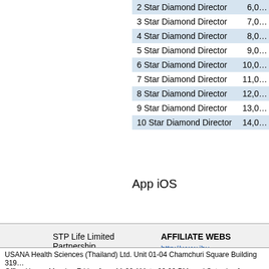| Rank | Points |
| --- | --- |
| 2 Star Diamond Director | 6,0… |
| 3 Star Diamond Director | 7,0… |
| 4 Star Diamond Director | 8,0… |
| 5 Star Diamond Director | 9,0… |
| 6 Star Diamond Director | 10,0… |
| 7 Star Diamond Director | 11,0… |
| 8 Star Diamond Director | 12,0… |
| 9 Star Diamond Director | 13,0… |
| 10 Star Diamond Director | 14,0… |
App iOS
STP Life Limited Partnership
Established 2014
AFFILIATE WEBS…
http://www.ibu…
https://eng.ibu…
https://ibuyubu…
USANA Health Sciences (Thailand) Ltd. Unit 01-04 Chamchuri Square Building 319… Office Hours, Monday-Friday from 11.00 AM. to 20.00 PM. and Saturday from 13.0…